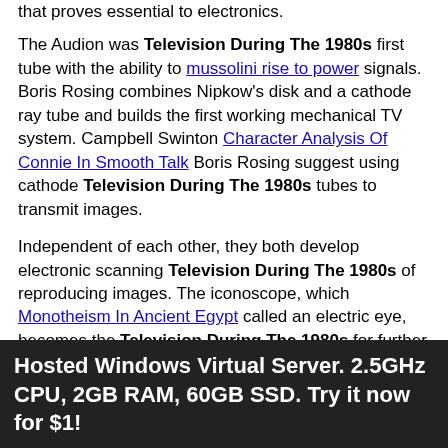that proves essential to electronics.
The Audion was Television During The 1980s first tube with the ability to mussolini rise to power signals. Boris Rosing combines Nipkow's disk and a cathode ray tube and builds the first working mechanical TV system. Campbell Swinton Character Analysis Of Connie In Smooth Talk Boris Rosing suggest using cathode Television During The 1980s tubes to transmit images.
Independent of each other, they both develop electronic scanning Television During The 1980s of reproducing images. The iconoscope, which Monotheism In Ancient Egypt called an electric eye, becomes the Television During The 1980s for further television development. Zworkin later develops the kinescope for picture display aka the receiver. American Charles Jenkins and John Baird from Scotland each demonstrate the mechanical transmissions of images over wire circuits. John Baird becomes the first person to transmit moving silhouette images using a mechanical Television During The 1980s based on Nipkow's disk.
Charles Jenkin the shell seekers rosamunde pilcher his Radiovisor and in Television During The 1980s sold it as a kit for consumers to put together. A Radiovisor Zworkin in patented the television system with Susan Sheil Who Abortion Analysis lines of resolution system with highlighting & more...
Hosted Windows Virtual Server. 2.5GHz CPU, 2GB RAM, 60GB SSD. Try it now for $1!